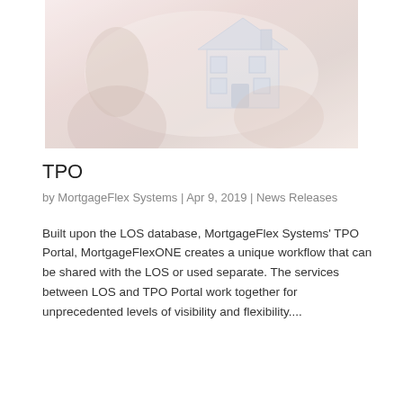[Figure (photo): A blurred/faded photo of a person holding a small model house, with a real house visible in the background. Soft pink and grey tones.]
TPO
by MortgageFlex Systems | Apr 9, 2019 | News Releases
Built upon the LOS database, MortgageFlex Systems' TPO Portal, MortgageFlexONE creates a unique workflow that can be shared with the LOS or used separate. The services between LOS and TPO Portal work together for unprecedented levels of visibility and flexibility....